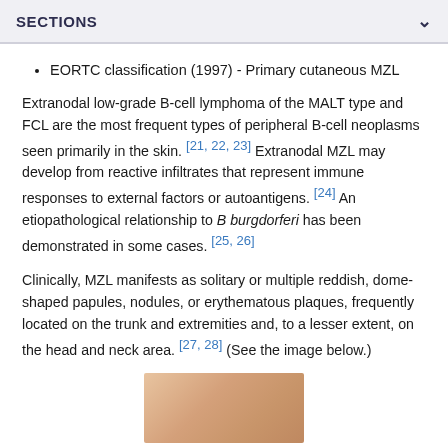SECTIONS
EORTC classification (1997) - Primary cutaneous MZL
Extranodal low-grade B-cell lymphoma of the MALT type and FCL are the most frequent types of peripheral B-cell neoplasms seen primarily in the skin. [21, 22, 23] Extranodal MZL may develop from reactive infiltrates that represent immune responses to external factors or autoantigens. [24] An etiopathological relationship to B burgdorferi has been demonstrated in some cases. [25, 26]
Clinically, MZL manifests as solitary or multiple reddish, dome-shaped papules, nodules, or erythematous plaques, frequently located on the trunk and extremities and, to a lesser extent, on the head and neck area. [27, 28] (See the image below.)
[Figure (photo): Photograph showing skin manifestation of MZL, reddish lesion on skin]